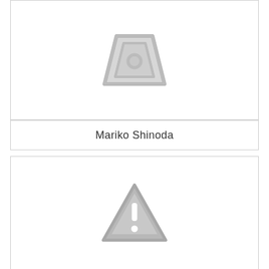[Figure (illustration): Gray placeholder image icon showing a road/landscape symbol (trapezoid shape with circle) indicating missing image]
Mariko Shinoda
[Figure (illustration): Gray warning triangle icon with exclamation mark indicating missing or unavailable image]